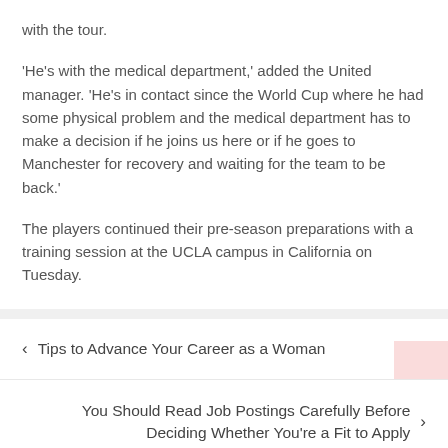with the tour.
'He's with the medical department,' added the United manager. 'He's in contact since the World Cup where he had some physical problem and the medical department has to make a decision if he joins us here or if he goes to Manchester for recovery and waiting for the team to be back.'
The players continued their pre-season preparations with a training session at the UCLA campus in California on Tuesday.
< Tips to Advance Your Career as a Woman
You Should Read Job Postings Carefully Before Deciding Whether You're a Fit to Apply >